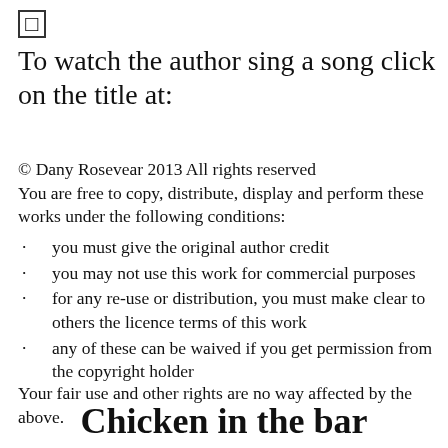[Figure (other): Small square icon/checkbox symbol]
To watch the author sing a song click on the title at:
© Dany Rosevear 2013 All rights reserved
You are free to copy, distribute, display and perform these works under the following conditions:
you must give the original author credit
you may not use this work for commercial purposes
for any re-use or distribution, you must make clear to others the licence terms of this work
any of these can be waived if you get permission from the copyright holder
Your fair use and other rights are no way affected by the above.
Chicken in the bar